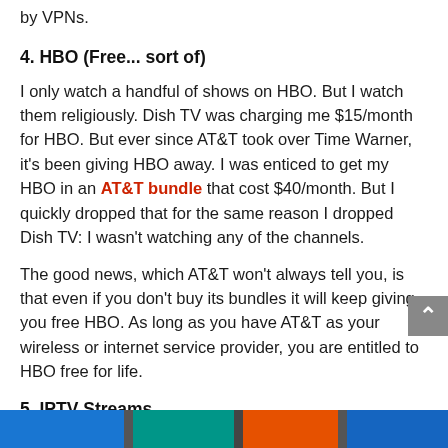by VPNs.
4. HBO (Free... sort of)
I only watch a handful of shows on HBO. But I watch them religiously. Dish TV was charging me $15/month for HBO. But ever since AT&T took over Time Warner, it's been giving HBO away. I was enticed to get my HBO in an AT&T bundle that cost $40/month. But I quickly dropped that for the same reason I dropped Dish TV: I wasn't watching any of the channels.
The good news, which AT&T won't always tell you, is that even if you don't buy its bundles it will keep giving you free HBO. As long as you have AT&T as your wireless or internet service provider, you are entitled to HBO free for life.
5. IPTV Streams
[Figure (other): Colorful image strip at the bottom of the page showing sections of blue, teal, orange, and dark blue color blocks]